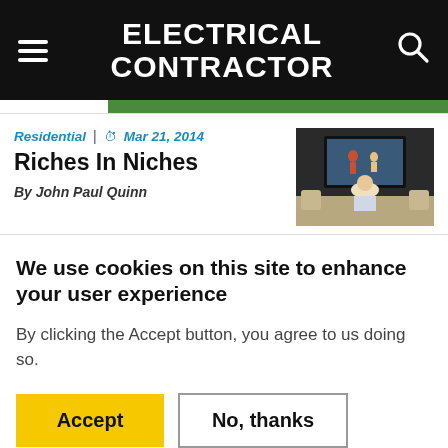ELECTRICAL CONTRACTOR
Residential | Mar 21, 2014
Riches In Niches
By John Paul Quinn
[Figure (photo): Person sitting on couch watching a large TV screen mounted on a dark wall]
We use cookies on this site to enhance your user experience
By clicking the Accept button, you agree to us doing so.
Accept | No, thanks